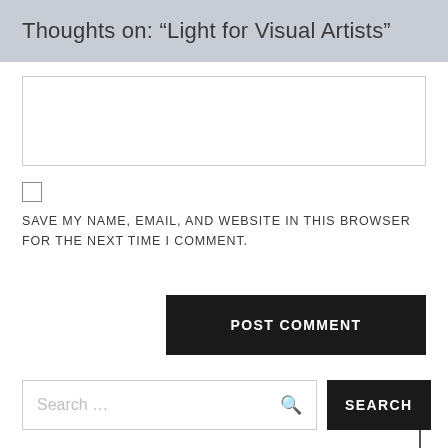Thoughts on: “Light for Visual Artists”
SAVE MY NAME, EMAIL, AND WEBSITE IN THIS BROWSER FOR THE NEXT TIME I COMMENT.
POST COMMENT
Search ...
SEARCH